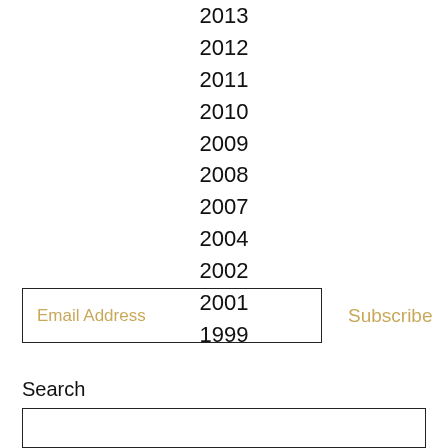2013
2012
2011
2010
2009
2008
2007
2004
2002
2001
1999
Email Address
Subscribe
Search